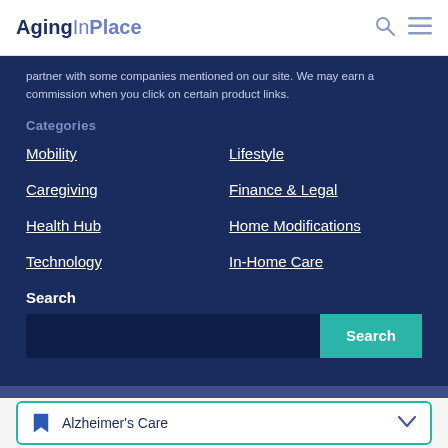AgingInPlace
partner with some companies mentioned on our site. We may earn a commission when you click on certain product links.
Categories
Mobility
Lifestyle
Caregiving
Finance & Legal
Health Hub
Home Modifications
Technology
In-Home Care
Search
Alzheimer's Care